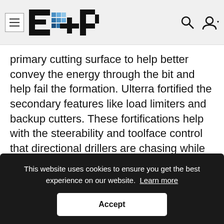E+P logo header with navigation icons
primary cutting surface to help better convey the energy through the bit and help fail the formation. Ulterra fortified the secondary features like load limiters and backup cutters. These fortifications help with the steerability and toolface control that directional drillers are chasing while minimizing the risks to durability that adding these features can
This website uses cookies to ensure you get the best experience on our website. Learn more
Accept